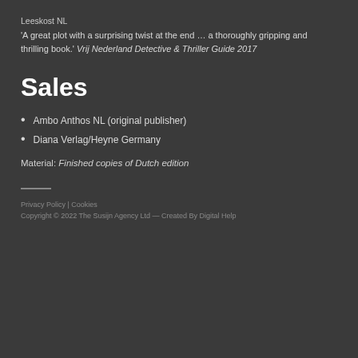Leeskost NL
'A great plot with a surprising twist at the end … a thoroughly gripping and thrilling book.' Vrij Nederland Detective & Thriller Guide 2017
Sales
Ambo Anthos NL (original publisher)
Diana Verlag/Heyne Germany
Material: Finished copies of Dutch edition
Privacy Policy | Cookies
Copyright © 2022 The Susijn Agency Ltd — Created By Digital Help